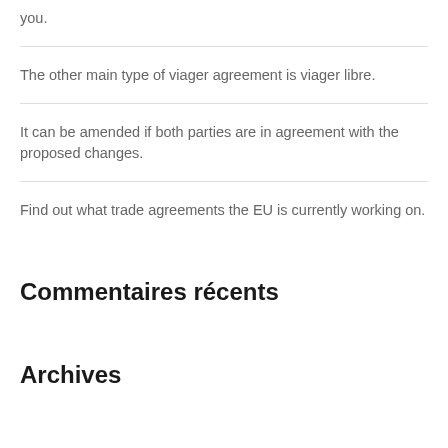you.
The other main type of viager agreement is viager libre.
It can be amended if both parties are in agreement with the proposed changes.
Find out what trade agreements the EU is currently working on.
Commentaires récents
Archives